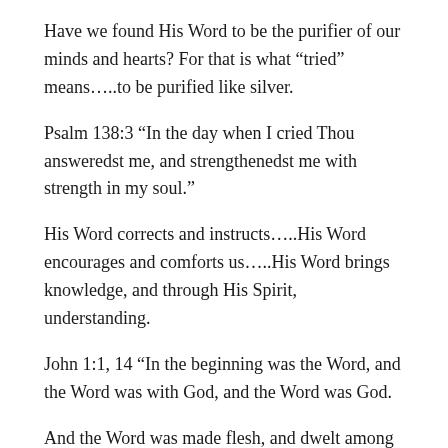Have we found His Word to be the purifier of our minds and hearts? For that is what “tried” means…..to be purified like silver.
Psalm 138:3 “In the day when I cried Thou answeredst me, and strengthenedst me with strength in my soul.”
His Word corrects and instructs…..His Word encourages and comforts us…..His Word brings knowledge, and through His Spirit, understanding.
John 1:1, 14 “In the beginning was the Word, and the Word was with God, and the Word was God.
And the Word was made flesh, and dwelt among us, (and we beheld His glory, the glory as of the only begotten of the Father,) full of grace and truth.”